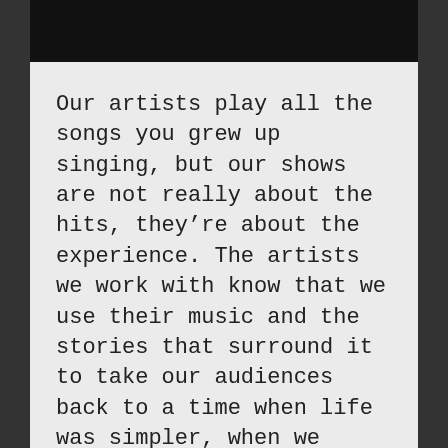Our artists play all the songs you grew up singing, but our shows are not really about the hits, they're about the experience. The artists we work with know that we use their music and the stories that surround it to take our audiences back to a time when life was simpler, when we believed our hopes and dreams could be realized.
Our artists know that their music gave us something